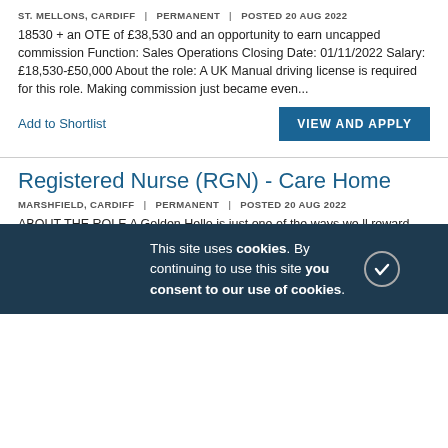ST. MELLONS, CARDIFF | PERMANENT | POSTED 20 AUG 2022
18530 + an OTE of £38,530 and an opportunity to earn uncapped commission Function: Sales Operations Closing Date: 01/11/2022 Salary: £18,530-£50,000 About the role: A UK Manual driving license is required for this role. Making commission just became even...
Add to Shortlist
VIEW AND APPLY
Registered Nurse (RGN) - Care Home
MARSHFIELD, CARDIFF | PERMANENT | POSTED 20 AUG 2022
ABOUT THE ROLE A Golden Hello is just one of the ways we ll reward you when you join Barchester in this role. As a Registered Nurse (RGN/RMN) at a Barchester care home, you ll look after the physical, psychological and social needs of our residents to
Add to
This site uses cookies. By continuing to use this site you consent to our use of cookies.